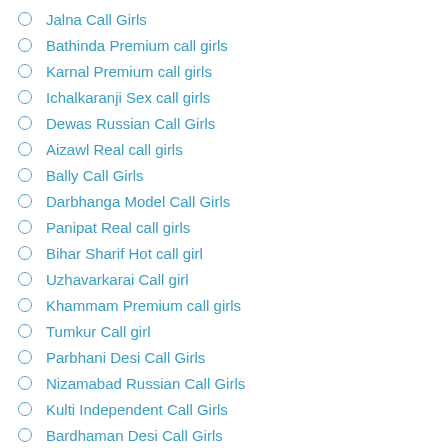Jalna Call Girls
Bathinda Premium call girls
Karnal Premium call girls
Ichalkaranji Sex call girls
Dewas Russian Call Girls
Aizawl Real call girls
Bally Call Girls
Darbhanga Model Call Girls
Panipat Real call girls
Bihar Sharif Hot call girl
Uzhavarkarai Call girl
Khammam Premium call girls
Tumkur Call girl
Parbhani Desi Call Girls
Nizamabad Russian Call Girls
Kulti Independent Call Girls
Bardhaman Desi Call Girls